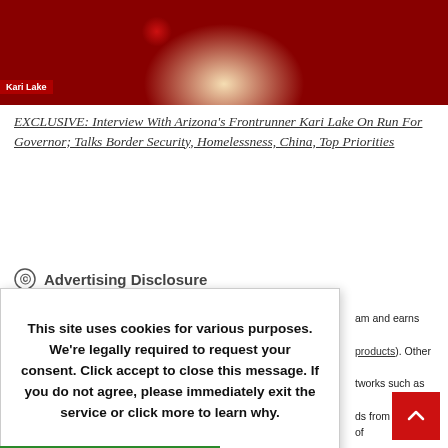[Figure (photo): Photo of a woman in a floral dress, partially cropped, with a red banner/sign in the background]
EXCLUSIVE: Interview With Arizona's Frontrunner Kari Lake On Run For Governor; Talks Border Security, Homelessness, China, Top Priorities
Advertising Disclosure
This site uses cookies for various purposes. We're legally required to request your consent. Click accept to close this message. If you do not agree, please immediately exit the service or click more to learn why.
am and earns
products). Other
tworks such as
ds from a variety of
dividual links,
content) could result
Published Reporter.
/ ownership section).
Popular Topics